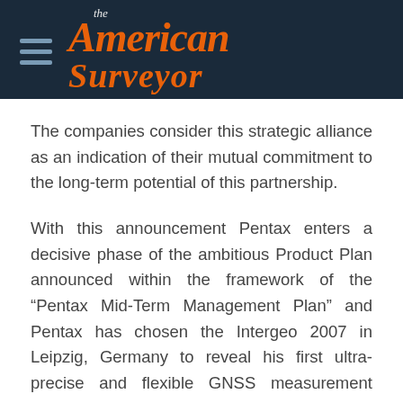[Figure (logo): The American Surveyor magazine logo with hamburger menu icon on dark navy background]
The companies consider this strategic alliance as an indication of their mutual commitment to the long-term potential of this partnership.
With this announcement Pentax enters a decisive phase of the ambitious Product Plan announced within the framework of the “Pentax Mid-Term Management Plan” and Pentax has chosen the Intergeo 2007 in Leipzig, Germany to reveal his first ultra-precise and flexible GNSS measurement solution which foreshadows the forthcoming innovative, easy-to-use and cost-effective Pentax GNSS-receiver that will go on sale from January